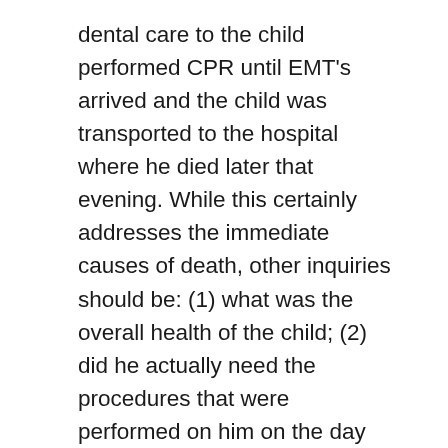dental care to the child performed CPR until EMT's arrived and the child was transported to the hospital where he died later that evening. While this certainly addresses the immediate causes of death, other inquiries should be: (1) what was the overall health of the child; (2) did he actually need the procedures that were performed on him on the day that he died. Considering that these were baby teeth, was it really required that he have major dental procedure at this age?; (3) did the procedure in question, if they were medically necessary, require general anesthesia or could local anesthesia have been used?; (4) what protocols were in place at the dental office to make sure the proper anesthesia was used, the proper monitoring during anesthesia was performed and what was to be done if complications, such as those that occurred in this